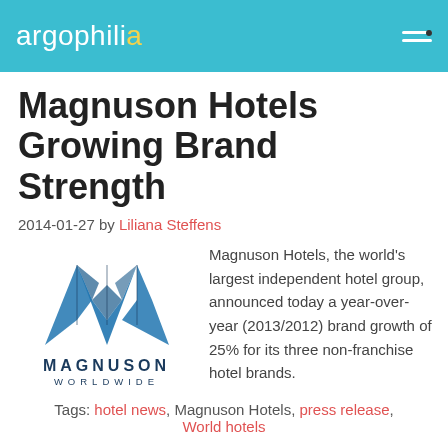argophilia
Magnuson Hotels Growing Brand Strength
2014-01-27 by Liliana Steffens
[Figure (logo): Magnuson Worldwide logo — stylized blue W/M letterform above the text MAGNUSON WORLDWIDE]
Magnuson Hotels, the world's largest independent hotel group, announced today a year-over-year (2013/2012) brand growth of 25% for its three non-franchise hotel brands.
Tags: hotel news, Magnuson Hotels, press release, World hotels